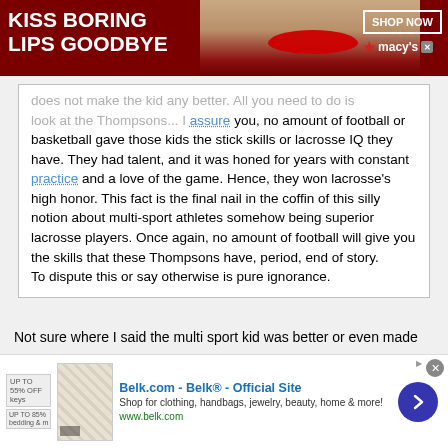[Figure (other): Top advertisement banner: dark red background with white bold text 'KISS BORING LIPS GOODBYE', a model's face with red lips in center, and 'SHOP NOW' button with Macy's logo on the right]
does not make the kid any better. All you need to do is look at the Thompsons... I assure you, no amount of football or basketball gave those kids the stick skills or lacrosse IQ they have. They had talent, and it was honed for years with constant practice and a love of the game. Hence, they won lacrosse's high honor. This fact is the final nail in the coffin of this silly notion about multi-sport athletes somehow being superior lacrosse players. Once again, no amount of football will give you the skills that these Thompsons have, period, end of story. To dispute this or say otherwise is pure ignorance.
Not sure where I said the multi sport kid was better or even made
[Figure (other): Bottom advertisement: Belk.com - Belk Official Site. Shop for clothing, handbags, jewelry, beauty, home & more! www.belk.com]